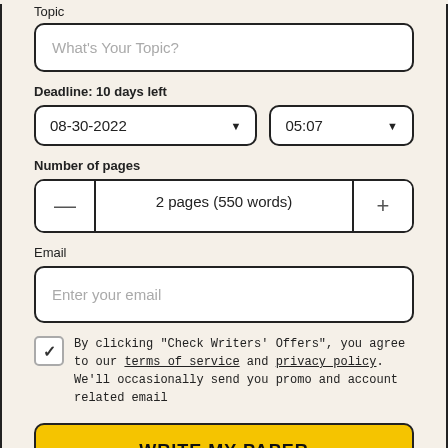Topic
What's Your Topic?
Deadline: 10 days left
08-30-2022
05:07
Number of pages
2 pages (550 words)
Email
Enter your email
By clicking "Check Writers' Offers", you agree to our terms of service and privacy policy. We'll occasionally send you promo and account related email
WRITE MY PAPER
You won't be charged yet!